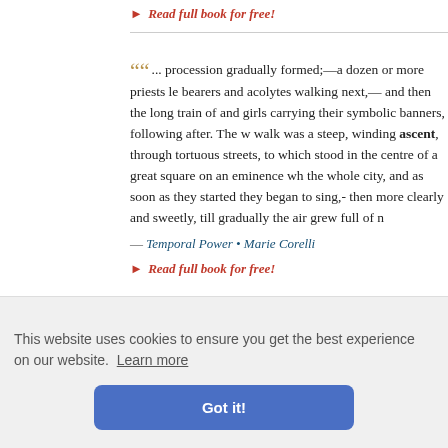▸ Read full book for free!
"... procession gradually formed;—a dozen or more priests le bearers and acolytes walking next,— and then the long train of and girls carrying their symbolic banners, following after. The w walk was a steep, winding ascent, through tortuous streets, to which stood in the centre of a great square on an eminence wh the whole city, and as soon as they started they began to sing,- then more clearly and sweetly, till gradually the air grew full of n
— Temporal Power • Marie Corelli
▸ Read full book for free!
smith took ink of Flee urt and the ooth. (A ge y years, co Breakneck
The Miscellaneous Writings and Speeches of Lord Macaulay
Thomas Babington Macaulay
This website uses cookies to ensure you get the best experience on our website. Learn more